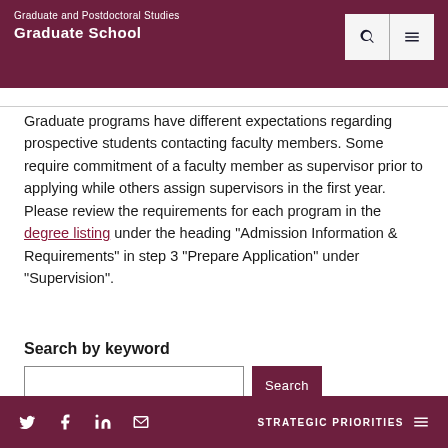Graduate and Postdoctoral Studies
Graduate School
Graduate programs have different expectations regarding prospective students contacting faculty members. Some require commitment of a faculty member as supervisor prior to applying while others assign supervisors in the first year. Please review the requirements for each program in the degree listing under the heading "Admission Information & Requirements" in step 3 "Prepare Application" under "Supervision".
Search by keyword
STRATEGIC PRIORITIES